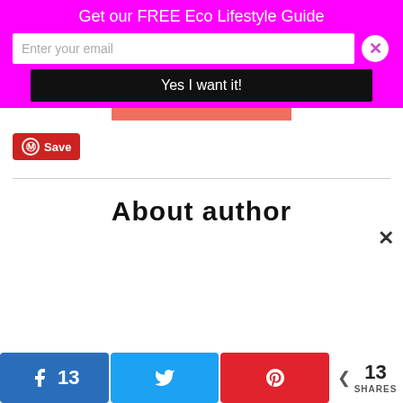Get our FREE Eco Lifestyle Guide
[Figure (screenshot): Email signup form with input field 'Enter your email', close button (X circle), and black submit button 'Yes I want it!']
[Figure (other): Red/salmon horizontal bar]
[Figure (other): Pinterest Save button (red rounded rectangle with P circle icon and Save text)]
About author
[Figure (other): Close X button]
[Figure (other): Social share bar with Facebook (13), Twitter, Pinterest share buttons and total 13 SHARES]